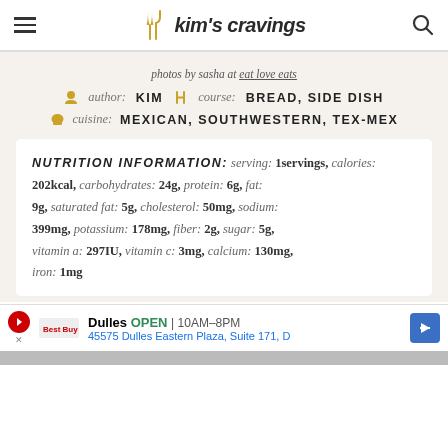Kim's Cravings
photos by sasha at eat love eats
author: KIM   course: BREAD, SIDE DISH   cuisine: MEXICAN, SOUTHWESTERN, TEX-MEX
NUTRITION INFORMATION: serving: 1servings, calories: 202kcal, carbohydrates: 24g, protein: 6g, fat: 9g, saturated fat: 5g, cholesterol: 50mg, sodium: 399mg, potassium: 178mg, fiber: 2g, sugar: 5g, vitamin a: 297IU, vitamin c: 3mg, calcium: 130mg, iron: 1mg